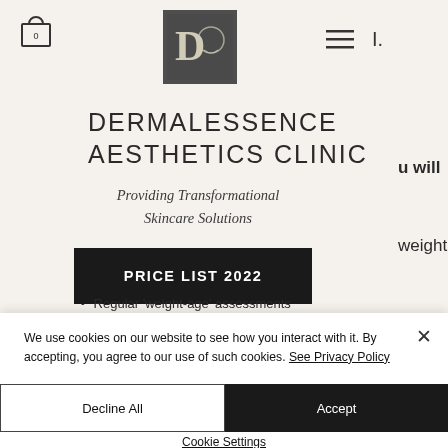[Figure (logo): Dermalessence Aesthetics Clinic logo — dark grey square with letter D and face silhouette]
DERMALESSENCE AESTHETICS CLINIC
Providing Transformational Skincare Solutions
PRICE LIST 2022
Regular 'weight-age' assessments
We use cookies on our website to see how you interact with it. By accepting, you agree to our use of such cookies. See Privacy Policy
Decline All
Accept
Cookie Settings